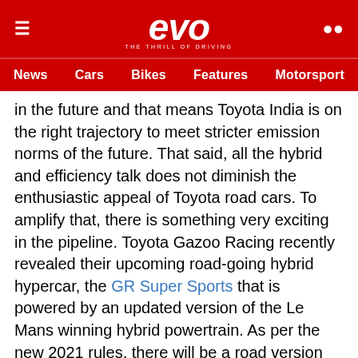evo — THE THRILL OF DRIVING
News | Cars | Bikes | Features | Motorsport
in the future and that means Toyota India is on the right trajectory to meet stricter emission norms of the future. That said, all the hybrid and efficiency talk does not diminish the enthusiastic appeal of Toyota road cars. To amplify that, there is something very exciting in the pipeline. Toyota Gazoo Racing recently revealed their upcoming road-going hybrid hypercar, the GR Super Sports that is powered by an updated version of the Le Mans winning hybrid powertrain. As per the new 2021 rules, there will be a road version homologated for race use and the latter will race in the new LM Hypercar class in the next season of WEC. "'Rather than developing production cars into sports cars, we aim to work out how to incorporate the